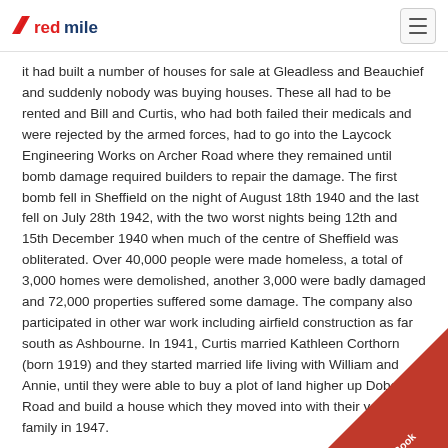redmile
it had built a number of houses for sale at Gleadless and Beauchief and suddenly nobody was buying houses. These all had to be rented and Bill and Curtis, who had both failed their medicals and were rejected by the armed forces, had to go into the Laycock Engineering Works on Archer Road where they remained until bomb damage required builders to repair the damage. The first bomb fell in Sheffield on the night of August 18th 1940 and the last fell on July 28th 1942, with the two worst nights being 12th and 15th December 1940 when much of the centre of Sheffield was obliterated. Over 40,000 people were made homeless, a total of 3,000 homes were demolished, another 3,000 were badly damaged and 72,000 properties suffered some damage. The company also participated in other war work including airfield construction as far south as Ashbourne. In 1941, Curtis married Kathleen Corthorn (born 1919) and they started married life living with William and Annie, until they were able to buy a plot of land higher up Dobcroft Road and build a house which they moved into with their young family in 1947.
After the war there was a tremendous housing shortage and the company was contracted to build houses for Sheffi...